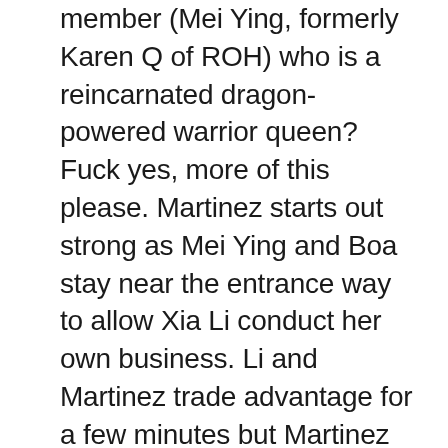member (Mei Ying, formerly Karen Q of ROH) who is a reincarnated dragon-powered warrior queen? Fuck yes, more of this please. Martinez starts out strong as Mei Ying and Boa stay near the entrance way to allow Xia Li conduct her own business. Li and Martinez trade advantage for a few minutes but Martinez begins to look like she'll win, and this displeases Tian Sha. Just as Martinez is going to go for a pin, the lights go out for a moment and when they return, Li is laying on the other side of the ring and Martinez is pinning nothing. Nothing! We cut to Boa and Mei